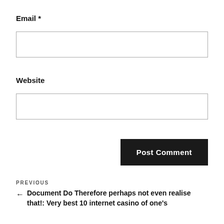Email *
Website
Post Comment
PREVIOUS
← Document Do Therefore perhaps not even realise that!: Very best 10 internet casino of one's decade